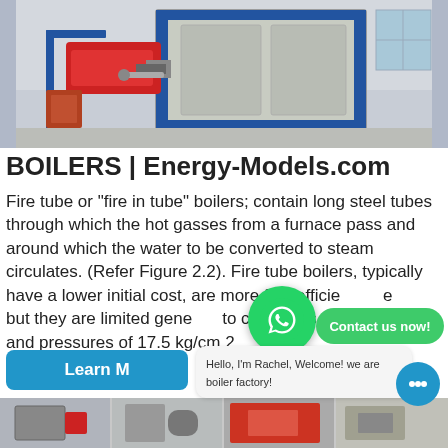[Figure (photo): Photo of an industrial fire tube boiler unit — a large metallic/stainless rectangular cabinet with blue frame, with a red burner mechanism attached on the left side, set in an industrial warehouse floor.]
BOILERS | Energy-Models.com
Fire tube or "fire in tube" boilers; contain long steel tubes through which the hot gasses from a furnace pass and around which the water to be converted to steam circulates. (Refer Figure 2.2). Fire tube boilers, typically have a lower initial cost, are more fuel efficient, easier to operate, but they are limited generally to capacities of 25 tons/hr and pressures of 17.5 kg/cm 2.